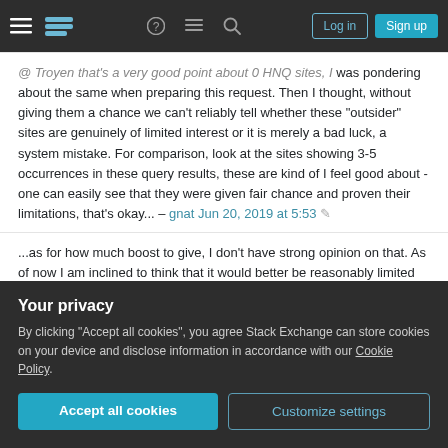Stack Exchange navigation bar with Log in and Sign up buttons
@Troyen that's a very good point about 0 HNQ sites, I was pondering about the same when preparing this request. Then I thought, without giving them a chance we can't reliably tell whether these "outsider" sites are genuinely of limited interest or it is merely a bad luck, a system mistake. For comparison, look at the sites showing 3-5 occurrences in these query results, these are kind of I feel good about - one can easily see that they were given fair chance and proven their limitations, that's okay... – gnat Jun 20, 2019 at 5:53
...as for how much boost to give, I don't have strong opinion on that. As of now I am inclined to think that it would better be reasonably limited because I see the purpose of this request not to push the site into list of...
Your privacy
By clicking "Accept all cookies", you agree Stack Exchange can store cookies on your device and disclose information in accordance with our Cookie Policy.
Accept all cookies
Customize settings